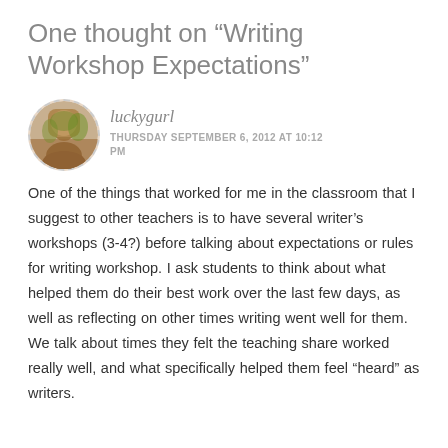One thought on “Writing Workshop Expectations”
luckygurl
THURSDAY SEPTEMBER 6, 2012 AT 10:12 PM
One of the things that worked for me in the classroom that I suggest to other teachers is to have several writer’s workshops (3-4?) before talking about expectations or rules for writing workshop. I ask students to think about what helped them do their best work over the last few days, as well as reflecting on other times writing went well for them. We talk about times they felt the teaching share worked really well, and what specifically helped them feel “heard” as writers.